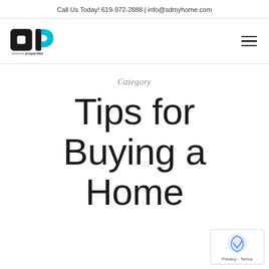Call Us Today! 619-972-2888 | info@sdmyhome.com
[Figure (logo): Avenue Properties logo with stylized 'ap' letters in black and teal, and text 'avenue properties' below]
Category
Tips for Buying a Home